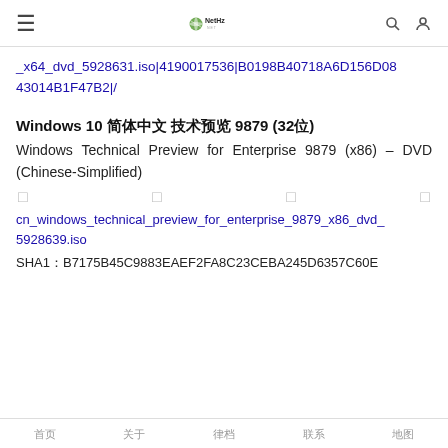≡  NetHz NET  🔍  👤
_x64_dvd_5928631.iso|4190017536|B0198B40718A6D156D0843014B1F47B2|/
Windows 10 简体中文 技术预览 9879 (32位)
Windows Technical Preview for Enterprise 9879 (x86) – DVD (Chinese-Simplified)
□ □ □ □
cn_windows_technical_preview_for_enterprise_9879_x86_dvd_5928639.iso
SHA1：B7175B45C9883EAEF2FA8C23CEBA245D6357C60E
首页  关于  归档  联系  地图